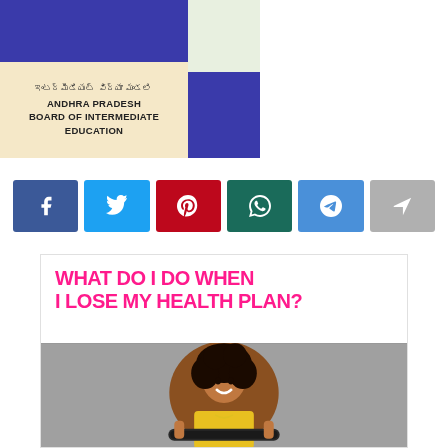[Figure (illustration): Top banner showing colorful illustration of people and buildings on left, and Andhra Pradesh Board of Intermediate Education logo/text on the right with a beige background. Blue decorative bar across bottom-left.]
[Figure (infographic): Row of six social share buttons: Facebook (dark blue), Twitter (light blue), Pinterest (red), WhatsApp (dark teal), Telegram (blue), Share (gray)]
[Figure (photo): Advertisement banner reading 'WHAT DO I DO WHEN I LOSE MY HEALTH PLAN?' in bold pink/magenta text, with a photo of a smiling young woman with curly hair holding a skateboard, wearing a yellow shirt.]